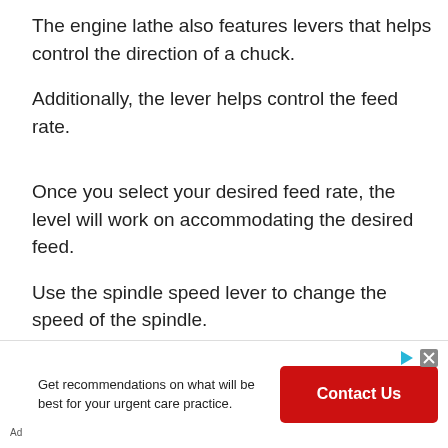The engine lathe also features levers that helps control the direction of a chuck.
Additionally, the lever helps control the feed rate.
Once you select your desired feed rate, the level will work on accommodating the desired feed.
Use the spindle speed lever to change the speed of the spindle.
[Figure (other): Advertisement banner: Get recommendations on what will be best for your urgent care practice. Contact Us button in red.]